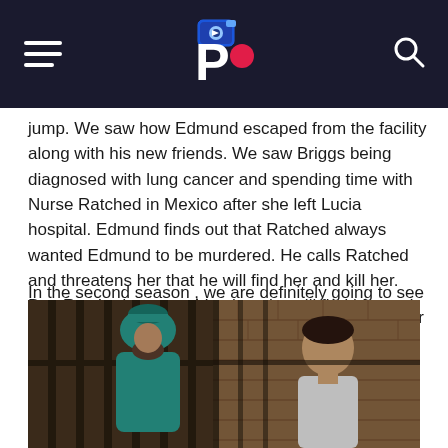Popdiaries header with logo
jump. We saw how Edmund escaped from the facility along with his new friends. We saw Briggs being diagnosed with lung cancer and spending time with Nurse Ratched in Mexico after she left Lucia hospital. Edmund finds out that Ratched always wanted Edmund to be murdered. He calls Ratched and threatens her that he will find her and kill her. But, Ratched assures him that she will find him and kill him first.
In the second season , we are definitely going to see Edmund Vs Ratched. How Ratched will get rid of her murderous brother.
[Figure (photo): Scene showing a nurse in teal uniform and hat speaking with a young man through prison bars, with brick wall in background]